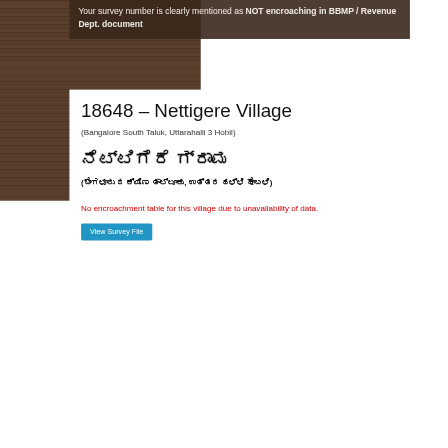Your survey number is clearly mentioned as NOT encroaching in BBMP / Revenue Dept. document
18648 – Nettigere Village
(Bangalore South Taluk, Uttarahalli 3 Hobli)
ನೆಟ್ಟಿಗೆರೆ ಗ್ರಾಮ
(ಬೆಂಗಳೂರು ದಕ್ಷಿಣ ತಾಲ್ಲೂಕು, ಉತ್ತರಹಳ್ಳಿ ಹೋಬಳಿ)
No encroachment table for this village due to unavailability of data.